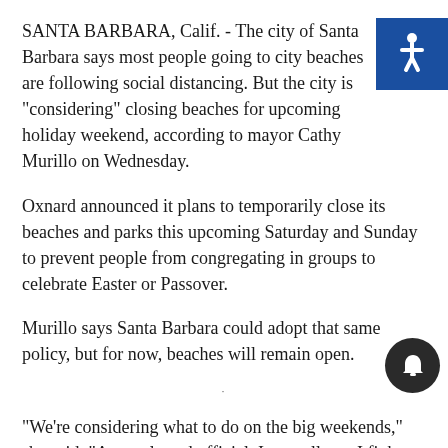SANTA BARBARA, Calif. - The city of Santa Barbara says most people going to city beaches are following social distancing. But the city is "considering" closing beaches for upcoming holiday weekend, according to mayor Cathy Murillo on Wednesday.
Oxnard announced it plans to temporarily close its beaches and parks this upcoming Saturday and Sunday to prevent people from congregating in groups to celebrate Easter or Passover.
Murillo says Santa Barbara could adopt that same policy, but for now, beaches will remain open.
"We're considering what to do on the big weekends," she said. "As an elected official, I can tell you I fight to the death for public access to the beach. And it's gonna be the hardest thing in the world to tell people to come to the beach.